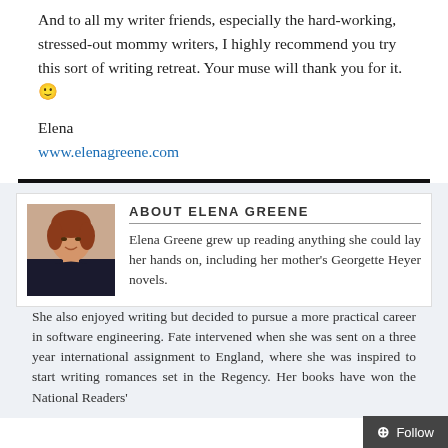And to all my writer friends, especially the hard-working, stressed-out mommy writers, I highly recommend you try this sort of writing retreat. Your muse will thank you for it. 🙂
Elena
www.elenagreene.com
[Figure (photo): Headshot photo of Elena Greene, a woman with reddish-brown hair wearing a dark top and necklace]
ABOUT ELENA GREENE
Elena Greene grew up reading anything she could lay her hands on, including her mother's Georgette Heyer novels. She also enjoyed writing but decided to pursue a more practical career in software engineering. Fate intervened when she was sent on a three year international assignment to England, where she was inspired to start writing romances set in the Regency. Her books have won the National Readers'